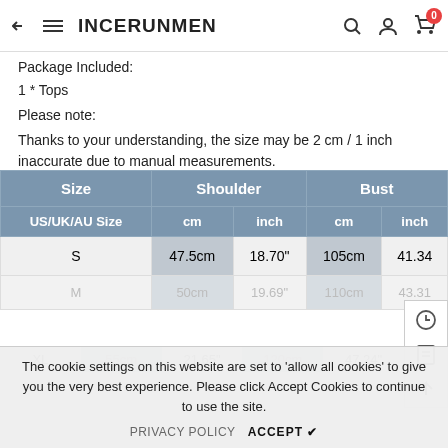← ≡ INCERUNMEN 🔍 👤 🛒 0
Package Included:
1 * Tops
Please note:
Thanks to your understanding, the size may be 2 cm / 1 inch inaccurate due to manual measurements.
| Size | Shoulder |  | Bust |  |
| --- | --- | --- | --- | --- |
| US/UK/AU Size | cm | inch | cm | inch |
| S | 47.5cm | 18.70" | 105cm | 41.34 |
| M | 50cm | 19.69" | 110cm | 43.31 |
| XL | 55cm | 21.65" | 120cm | 47.24" |
The cookie settings on this website are set to 'allow all cookies' to give you the very best experience. Please click Accept Cookies to continue to use the site.